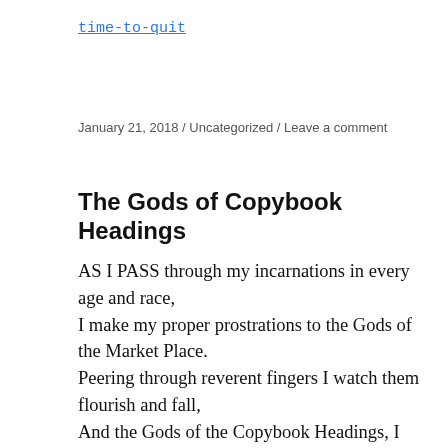time-to-quit
January 21, 2018  /  Uncategorized  /  Leave a comment
The Gods of Copybook Headings
AS I PASS through my incarnations in every age and race,
I make my proper prostrations to the Gods of the Market Place.
Peering through reverent fingers I watch them flourish and fall,
And the Gods of the Copybook Headings, I